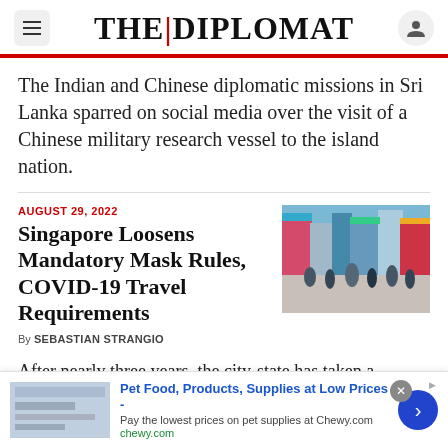THE DIPLOMAT
The Indian and Chinese diplomatic missions in Sri Lanka sparred on social media over the visit of a Chinese military research vessel to the island nation.
AUGUST 29, 2022
Singapore Loosens Mandatory Mask Rules, COVID-19 Travel Requirements
[Figure (photo): Street scene showing people walking, some wearing masks, with storefronts and signage in the background, likely Singapore.]
By SEBASTIAN STRANGIO
After nearly three years, the city-state has taken a significant step toward living with the disease.
[Figure (infographic): Advertisement banner: Pet Food, Products, Supplies at Low Prices - chewy.com]